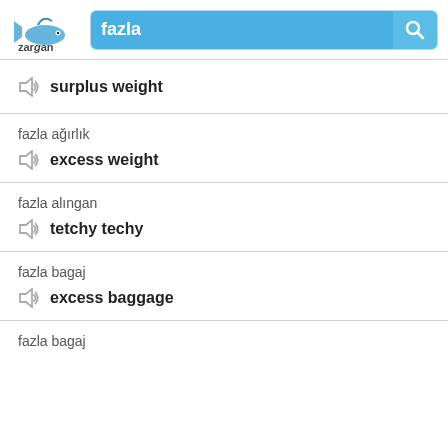[Figure (screenshot): Zargan dictionary app header with logo and search bar showing 'fazla']
surplus weight
fazla ağırlık
excess weight
fazla alıngan
tetchy techy
fazla bagaj
excess baggage
fazla bagaj